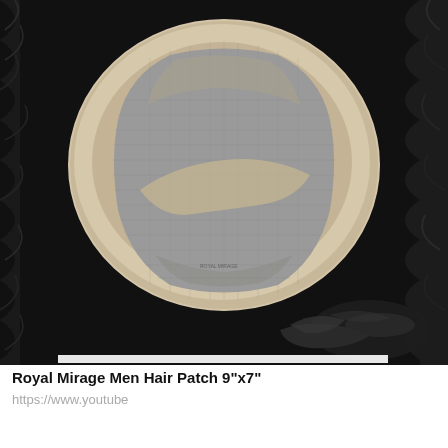[Figure (photo): A men's hair patch/toupee viewed from the underside, showing a beige/cream colored oval base with a gray mesh inner section, placed on a dark black furry background. The hair patch has a hat-like shape with a lighter perimeter and darker mesh center.]
Royal Mirage Men Hair Patch 9"x7"
https://www.youtube